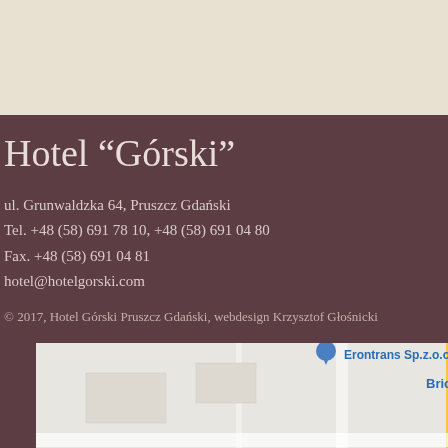Hotel “Górski”
ul. Grunwaldzka 64, Pruszcz Gdański
Tel. +48 (58) 691 78 10, +48 (58) 691 04 80
Fax. +48 (58) 691 04 81
hotel@hotelgorski.com
© 2017, Hotel Górski Pruszcz Gdański, webdesign Krzysztof Głośnicki
[Figure (map): Google Maps screenshot showing area near hotel in Pruszcz Gdański, with markers for Erontrans Sp.z.o.o, Bricomarche, BAT Materiały Budowlane Grupa PSB, and Salon meblowy BoConcept Red White - mebl]